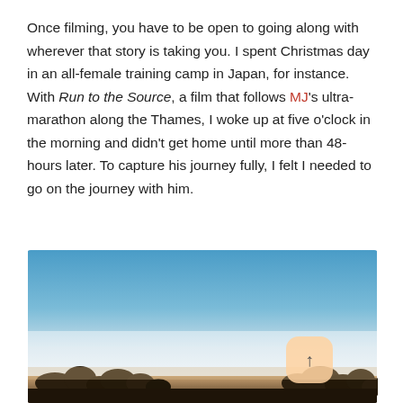Once filming, you have to be open to going along with wherever that story is taking you. I spent Christmas day in an all-female training camp in Japan, for instance. With Run to the Source, a film that follows MJ's ultra-marathon along the Thames, I woke up at five o'clock in the morning and didn't get home until more than 48-hours later. To capture his journey fully, I felt I needed to go on the journey with him.
[Figure (photo): Landscape photograph showing a blue sky fading to white near horizon with silhouetted trees at the bottom, suggesting early morning or dusk outdoors scene]